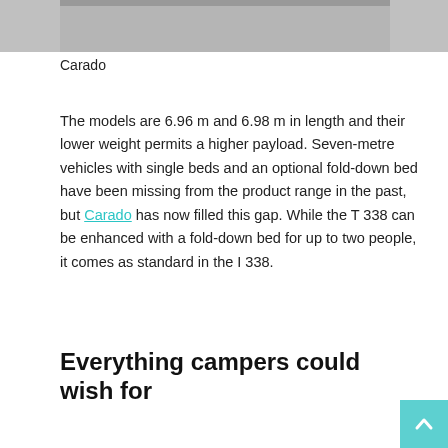[Figure (photo): Partial view of a vehicle/camper on a grey surface, cropped at the top of the page]
Carado
The models are 6.96 m and 6.98 m in length and their lower weight permits a higher payload. Seven-metre vehicles with single beds and an optional fold-down bed have been missing from the product range in the past, but Carado has now filled this gap. While the T 338 can be enhanced with a fold-down bed for up to two people, it comes as standard in the I 338.
Everything campers could wish for